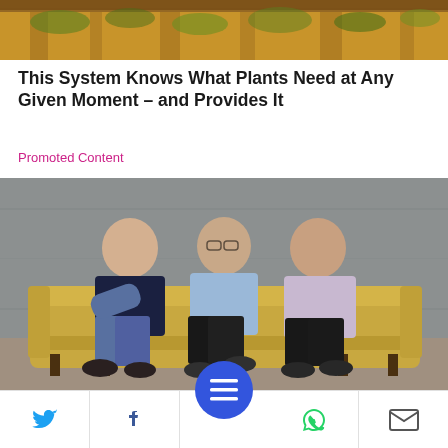[Figure (photo): Top portion of an outdoor scene showing plants/vineyard from above, warm tones]
This System Knows What Plants Need at Any Given Moment – and Provides It
Promoted Content
[Figure (photo): Three men sitting on a tan/gold sofa against a grey concrete wall, smiling at camera]
New Green Technology ... es Both Emissions
Social share bar with Twitter, Facebook, menu, WhatsApp, and email buttons